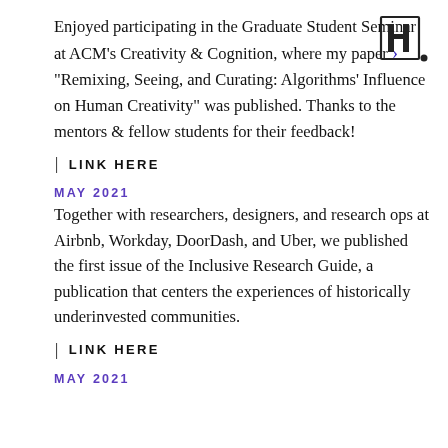Enjoyed participating in the Graduate Student Seminar at ACM's Creativity & Cognition, where my paper "Remixing, Seeing, and Curating: Algorithms' Influence on Human Creativity" was published. Thanks to the mentors & fellow students for their feedback!
| LINK HERE
MAY 2021
Together with researchers, designers, and research ops at Airbnb, Workday, DoorDash, and Uber, we published the first issue of the Inclusive Research Guide, a publication that centers the experiences of historically underinvested communities.
| LINK HERE
MAY 2021